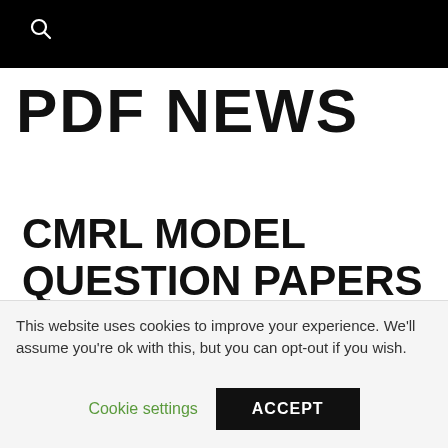PDF NEWS
CMRL MODEL QUESTION PAPERS PDF
This website uses cookies to improve your experience. We'll assume you're ok with this, but you can opt-out if you wish.
Cookie settings   ACCEPT